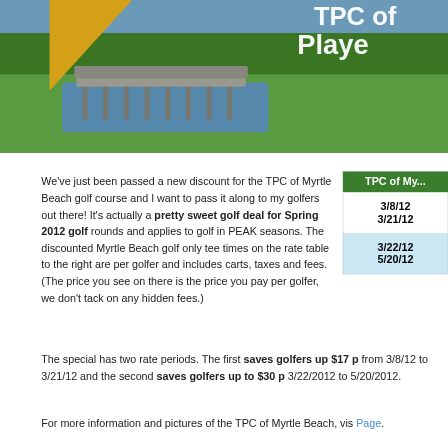[Figure (photo): Golf course banner photo showing a wooden bridge/cart path over water with green fairway and trees. White bold text 'TPC of Myrtle Beach Players' visible in upper right. Yellow/gold triangular badge on left side.]
We've just been passed a new discount for the TPC of Myrtle Beach golf course and I want to pass it along to my golfers out there! It's actually a pretty sweet golf deal for Spring 2012 golf rounds and applies to golf in PEAK seasons. The discounted Myrtle Beach golf only tee times on the rate table to the right are per golfer and includes carts, taxes and fees. (The price you see on there is the price you pay per golfer, we don't tack on any hidden fees.)
| TPC of My... |
| --- |
| 3/8/12 | 3/21/12 |
| 3/22/12 | 5/20/12 |
The special has two rate periods. The first saves golfers up $17 p from 3/8/12 to 3/21/12 and the second saves golfers up to $30 p 3/22/2012 to 5/20/2012.
For more information and pictures of the TPC of Myrtle Beach, vis Page.